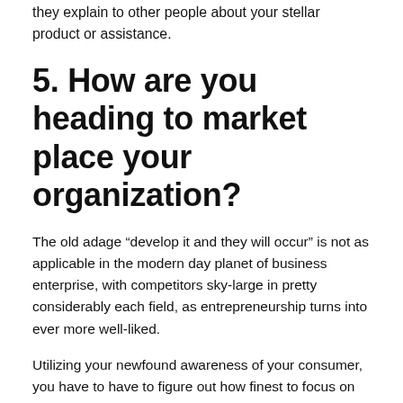they explain to other people about your stellar product or assistance.
5. How are you heading to market place your organization?
The old adage “develop it and they will occur” is not as applicable in the modern day planet of business enterprise, with competitors sky-large in pretty considerably each field, as entrepreneurship turns into ever more well-liked.
Utilizing your newfound awareness of your consumer, you have to have to figure out how finest to focus on them at a minimal value – considering the fact that, as a younger individual, you are possibly not swimming in hard cash.